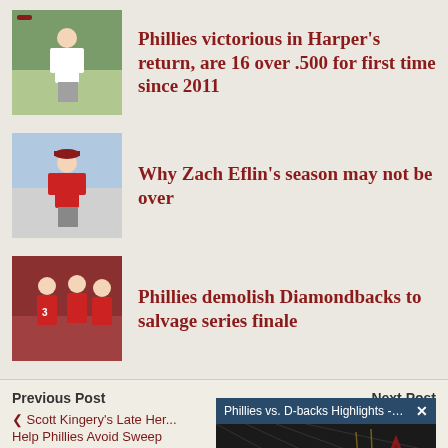Phillies victorious in Harper's return, are 16 over .500 for first time since 2011
Why Zach Eflin's season may not be over
Phillies demolish Diamondbacks to salvage series finale
Previous Post
Next Post
< Scott Kingery's Late Her... Help Phillies Avoid Sweep
Phillies vs. D-backs Highlights - The Phill...
[Figure (screenshot): Phillies vs D-backs highlights video popup overlay with logos and mute button]
THROWBA... S...